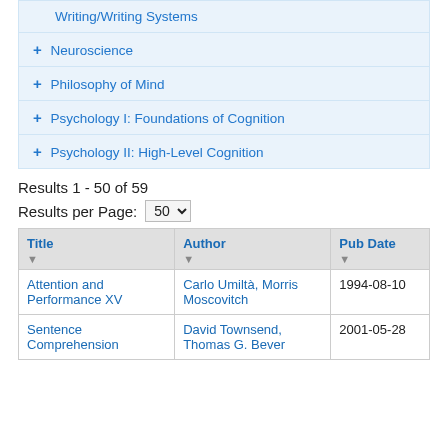Writing/Writing Systems
+ Neuroscience
+ Philosophy of Mind
+ Psychology I: Foundations of Cognition
+ Psychology II: High-Level Cognition
Results 1 - 50 of 59
Results per Page: 50
| Title | Author | Pub Date |
| --- | --- | --- |
| Attention and Performance XV | Carlo Umiltà, Morris Moscovitch | 1994-08-10 |
| Sentence Comprehension | David Townsend, Thomas G. Bever | 2001-05-28 |